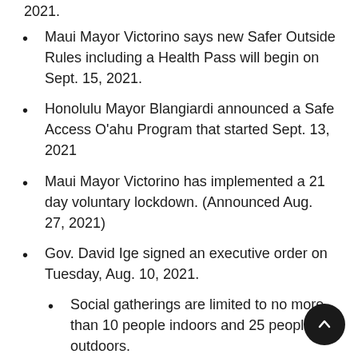2021.
Maui Mayor Victorino says new Safer Outside Rules including a Health Pass will begin on Sept. 15, 2021.
Honolulu Mayor Blangiardi announced a Safe Access O'ahu Program that started Sept. 13, 2021
Maui Mayor Victorino has implemented a 21 day voluntary lockdown. (Announced Aug. 27, 2021)
Gov. David Ige signed an executive order on Tuesday, Aug. 10, 2021.
Social gatherings are limited to no more than 10 people indoors and 25 people outdoors.